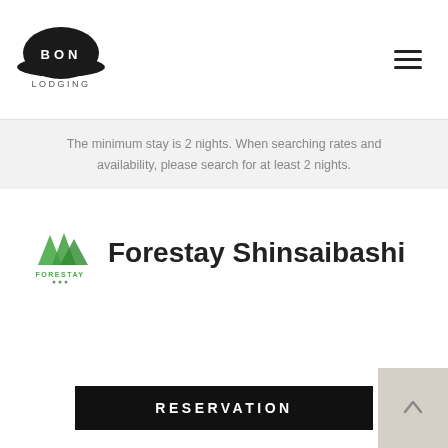BON LODGING (logo) — navigation hamburger menu
The minimum stay is 2 nights. When searching rates and availability, please search for at least 2 nights.
[Figure (logo): Forestay logo — green mountain-shaped icon with text FORESTAY below]
Forestay Shinsaibashi
RESERVATION